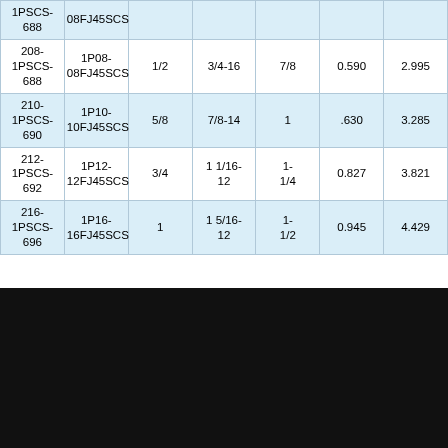| 1PSCS-688 | 08FJ45SCS |  |  |  |  |  |
| 208-1PSCS-688 | 1P08-08FJ45SCS | 1/2 | 3/4-16 | 7/8 | 0.590 | 2.995 |
| 210-1PSCS-690 | 1P10-10FJ45SCS | 5/8 | 7/8-14 | 1 | .630 | 3.285 |
| 212-1PSCS-692 | 1P12-12FJ45SCS | 3/4 | 1 1/16-12 | 1-1/4 | 0.827 | 3.821 |
| 216-1PSCS-696 | 1P16-16FJ45SCS | 1 | 1 5/16-12 | 1-1/2 | 0.945 | 4.429 |